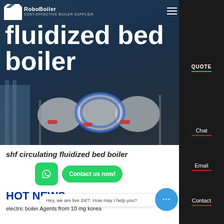[Figure (screenshot): Website screenshot of RoboBoiler/boiler supplier website header with hero image showing industrial boilers and fluidized bed boiler title overlay]
fluidized bed boiler
shf circulating fluidized bed boiler
Contact us now!
HOT NEWS
Hey, we are live 24/7. How may I help you?
electric boiler Agents from 10 mg korea